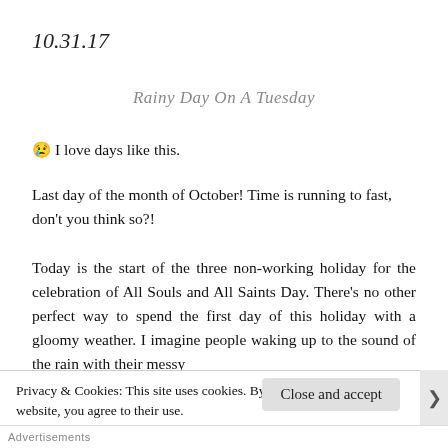10.31.17
Rainy Day On A Tuesday
🙁 I love days like this.
Last day of the month of October! Time is running to fast, don't you think so?!
Today is the start of the three non-working holiday for the celebration of All Souls and All Saints Day. There's no other perfect way to spend the first day of this holiday with a gloomy weather. I imagine people waking up to the sound of the rain with their messy
Privacy & Cookies: This site uses cookies. By continuing to use this website, you agree to their use.
To find out more, including how to control cookies, see here: Cookie Policy
Close and accept
Advertisements